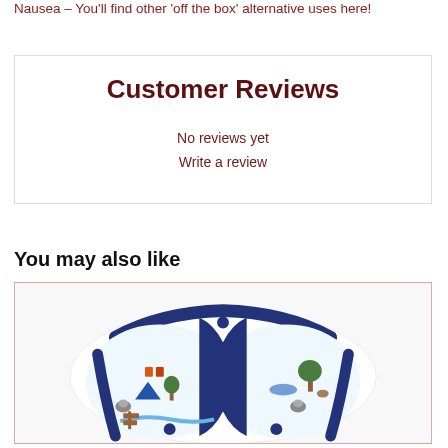Nausea – You'll find other 'off the box' alternative uses here!
Customer Reviews
No reviews yet
Write a review
You may also like
[Figure (photo): Product photo of a cloth diaper/nappy with a camping-themed print featuring raccoons, tents, trees, and outdoor scenes with navy blue trim and snaps]